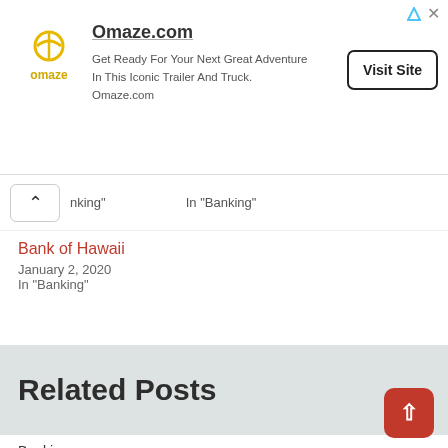[Figure (other): Omaze advertisement banner with logo, text, and Visit Site button]
nking" ... In "Banking"
Bank of Hawaii
January 2, 2020
In "Banking"
Related Posts
Banking
Bank of America
October 18, 2021   wikis